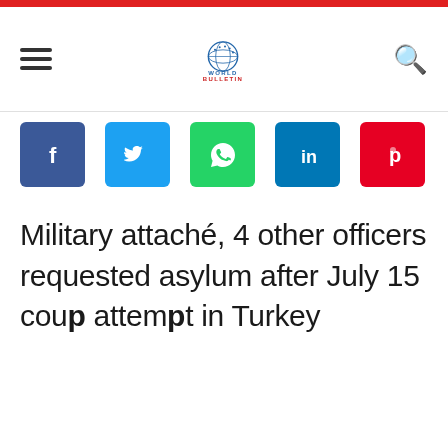[Figure (logo): World Bulletin website logo with globe icon and text]
[Figure (infographic): Social media share buttons: Facebook, Twitter, WhatsApp, LinkedIn, Pinterest]
Military attaché, 4 other officers requested asylum after July 15 coup attempt in Turkey